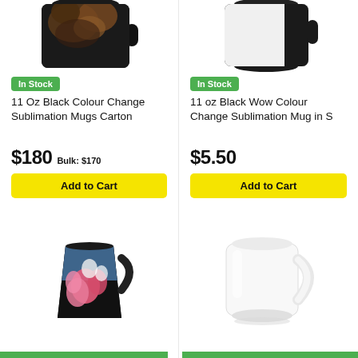[Figure (photo): Black colour change sublimation mug with dog photo, partially cropped at top]
In Stock
11 Oz Black Colour Change Sublimation Mugs Carton
$180 Bulk: $170
Add to Cart
[Figure (photo): Black colour change sublimation mug, white inside, partially cropped at top]
In Stock
11 oz Black Wow Colour Change Sublimation Mug in S
$5.50
Add to Cart
[Figure (photo): Black latte-style colour change mug with pink flowers design]
[Figure (photo): White sublimation mug, plain]